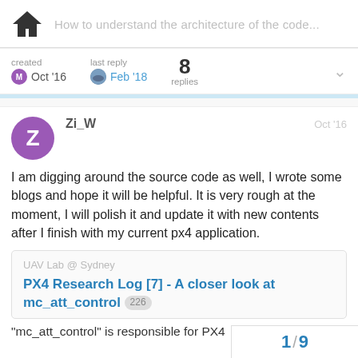How to understand the architecture of the code...
created Oct '16  last reply Feb '18  8 replies
Zi_W  Oct '16
I am digging around the source code as well, I wrote some blogs and hope it will be helpful. It is very rough at the moment, I will polish it and update it with new contents after I finish with my current px4 application.
UAV Lab @ Sydney
PX4 Research Log [7] - A closer look at mc_att_control 226
"mc_att_control" is responsible for PX4
1 / 9